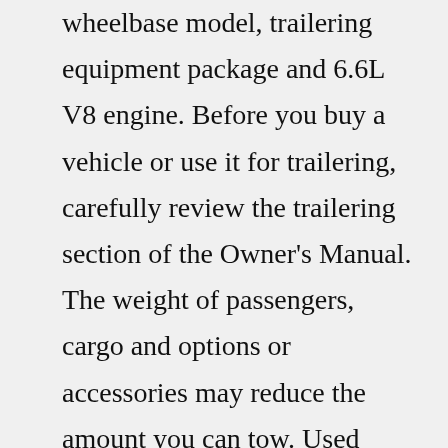wheelbase model, trailering equipment package and 6.6L V8 engine. Before you buy a vehicle or use it for trailering, carefully review the trailering section of the Owner's Manual. The weight of passengers, cargo and options or accessories may reduce the amount you can tow. Used 2020 Chevrolet Silverado 2500 LT Texas Edition • Convenience Pkg • Safety Pkg • Z71 Off-Road Pkg 59,977 46,304 miles Northside Chevrolet KBB.com Rating 3.7 (210) 944-